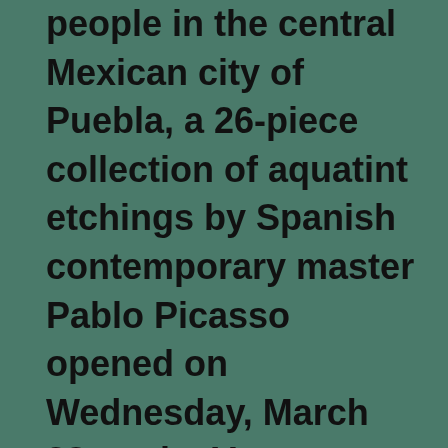people in the central Mexican city of Puebla, a 26-piece collection of aquatint etchings by Spanish contemporary master Pablo Picasso opened on Wednesday, March 28, at the Veracruz State Art Museum in Orizaba.
The La Tauromaquia paintings, on loan from the Bank of America Collection, deal with images of bullfighting, a theme that was central to many of Picasso's works.
The collection also includes works by eight of Picasso's contemporaries: Eugenio Merino, Kepa Garraza, Pierre D'Argyll, Manolo Valdés, Alberto Corazón, Miquel Navarro, Juan